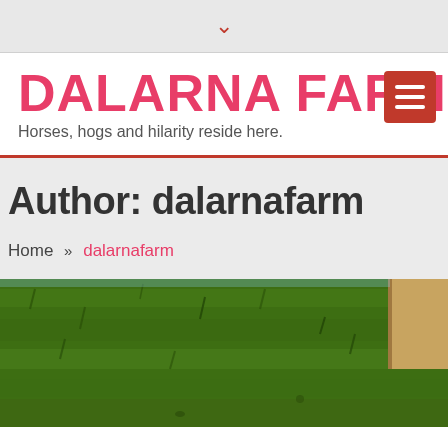▾
DALARNA FARM
Horses, hogs and hilarity reside here.
Author: dalarnafarm
Home » dalarnafarm
[Figure (photo): Outdoor grass area with green lawn and partial view of wooden structure at top right]